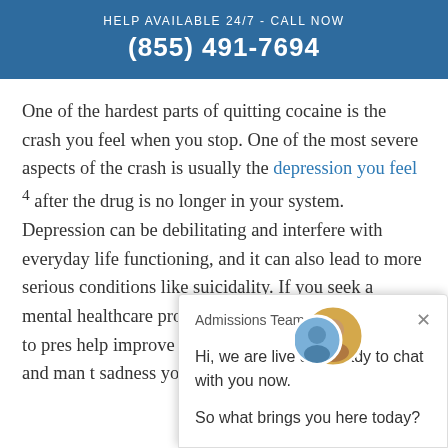HELP AVAILABLE 24/7 - CALL NOW
(855) 491-7694
One of the hardest parts of quitting cocaine is the crash you feel when you stop. One of the most severe aspects of the crash is usually the depression you feel 4 after the drug is no longer in your system. Depression can be debilitating and interfere with everyday life functioning, and it can also lead to more serious conditions like suicidality. If you seek a mental healthcare provider, a psychiatrist may be able to prescribe [medications to] help improve the [symptoms] you are experiencing. S[ome medications consist] of drugs that a[ct on the brain's reward system] and ma[y lessen the feelings of] sadness you experience post-crash.
[Figure (screenshot): Chat popup from Admissions Team with message: 'Hi, we are live and ready to chat with you now. So what brings you here today?' with a close (x) button and avatar group showing two overlapping circular profile photos.]